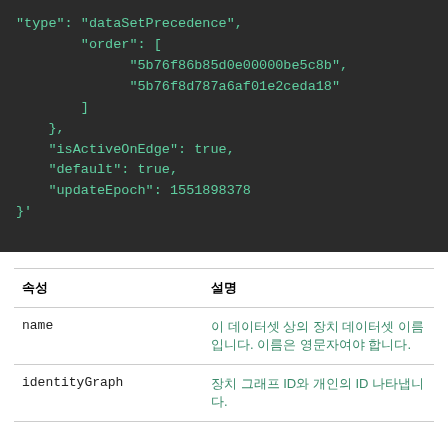[Figure (screenshot): Code block showing JSON with type dataSetPrecedence, order array with two IDs, isActiveOnEdge true, default true, updateEpoch 1551898378, closing brace]
| 속성 | 설명 |
| --- | --- |
| name | 이 데이터셋 상의 장치 데이터셋 이름입니다. 이름은 영문자여야 합니다. |
| identityGraph | 장치 그래프 ID와 개인의 ID를 나타냅니다. |